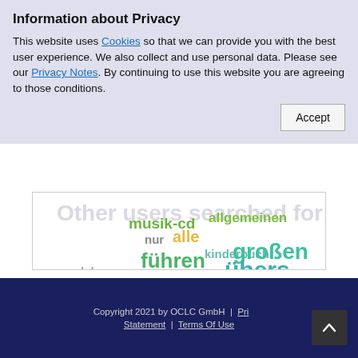Information about Privacy
This website uses Cookies so that we can provide you with the best user experience. We also collect and use personal data. Please see our Privacy Notes. By continuing to use this website you are agreeing to those conditions.
[Figure (infographic): Word cloud with German words: reiseführer (large red), hörbuch (large green), übers (large teal), ein (large green), über (large yellow-green), großen (large teal), führen (medium green), musik-cd (medium green), allein (medium green), dass (medium green-yellow), weit (medium teal), dieser (small teal), kinderbu(ch) (small teal), allgemeinen (small teal), andere (small gray), plus others in various colors]
Copyright 2021 by OCLC GmbH  |  Privacy Statement  |  Terms Of Use